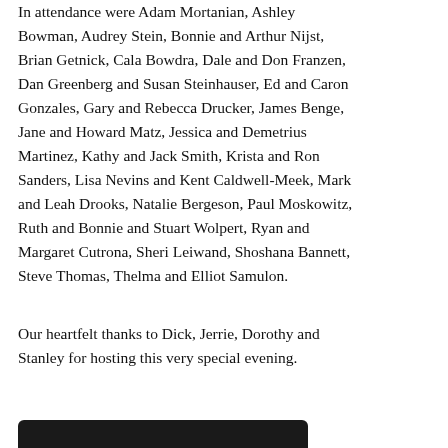In attendance were Adam Mortanian, Ashley Bowman, Audrey Stein, Bonnie and Arthur Nijst, Brian Getnick, Cala Bowdra, Dale and Don Franzen, Dan Greenberg and Susan Steinhauser, Ed and Caron Gonzales, Gary and Rebecca Drucker, James Benge, Jane and Howard Matz, Jessica and Demetrius Martinez, Kathy and Jack Smith, Krista and Ron Sanders, Lisa Nevins and Kent Caldwell-Meek, Mark and Leah Drooks, Natalie Bergeson, Paul Moskowitz, Ruth and Bonnie and Stuart Wolpert, Ryan and Margaret Cutrona, Sheri Leiwand, Shoshana Bannett, Steve Thomas, Thelma and Elliot Samulon.
Our heartfelt thanks to Dick, Jerrie, Dorothy and Stanley for hosting this very special evening.